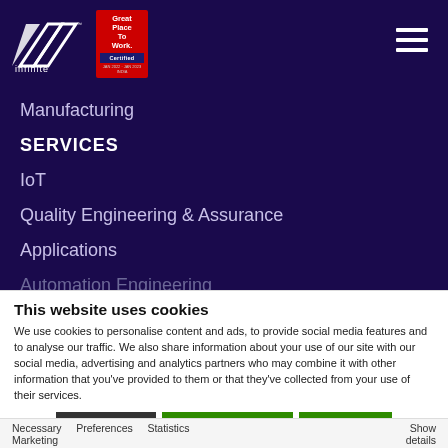[Figure (logo): Infinite company logo with white geometric triangle shapes and 'infinite' text in white on dark navy background, alongside a 'Great Place To Work Certified' badge in red and dark blue]
Manufacturing
SERVICES
IoT
Quality Engineering & Assurance
Applications
Automation Engineering
This website uses cookies
We use cookies to personalise content and ads, to provide social media features and to analyse our traffic. We also share information about your use of our site with our social media, advertising and analytics partners who may combine it with other information that you've provided to them or that they've collected from your use of their services.
Deny | Allow selection | Allow all
Necessary   Preferences   Statistics   Marketing   Show details